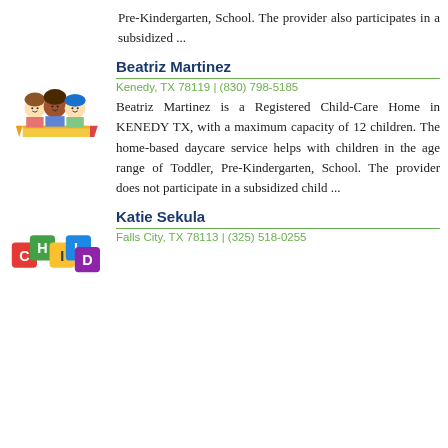Pre-Kindergarten, School. The provider also participates in a subsidized ...
[Figure (illustration): Cartoon illustration of children with a large pencil]
Beatriz Martinez
Kenedy, TX 78119 | (830) 798-5185
Beatriz Martinez is a Registered Child-Care Home in KENEDY TX, with a maximum capacity of 12 children. The home-based daycare service helps with children in the age range of Toddler, Pre-Kindergarten, School. The provider does not participate in a subsidized child ...
[Figure (illustration): Colorful toy blocks spelling CHILD]
Katie Sekula
Falls City, TX 78113 | (325) 518-0255